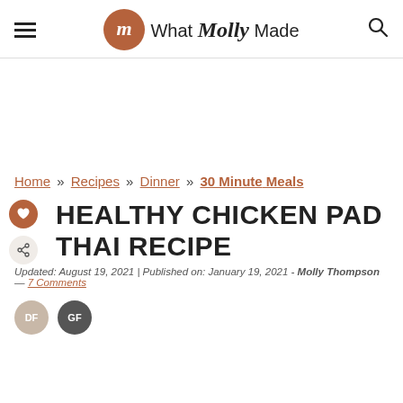What Molly Made
Home » Recipes » Dinner » 30 Minute Meals
HEALTHY CHICKEN PAD THAI RECIPE
Updated: August 19, 2021 | Published on: January 19, 2021 - Molly Thompson — 7 Comments
[Figure (other): DF and GF badge icons]